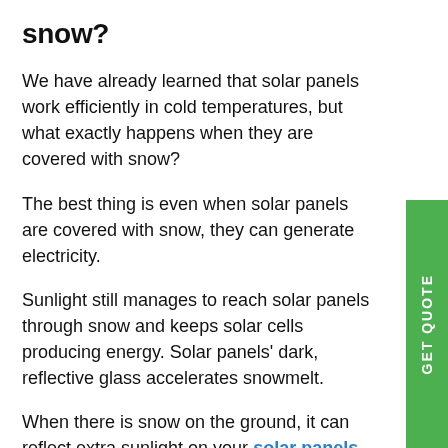snow?
We have already learned that solar panels work efficiently in cold temperatures, but what exactly happens when they are covered with snow?
The best thing is even when solar panels are covered with snow, they can generate electricity.
Sunlight still manages to reach solar panels through snow and keeps solar cells producing energy. Solar panels' dark, reflective glass accelerates snowmelt.
When there is snow on the ground, it can reflect extra sunlight on your solar panels Sydney like a mirror resulting in your solar panels generating more energy.